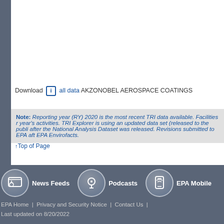Download [i] all data AKZONOBEL AEROSPACE COATINGS
Note: Reporting year (RY) 2020 is the most recent TRI data available. Facilities r... year's activities. TRI Explorer is using an updated data set (released to the publi... after the National Analysis Dataset was released. Revisions submitted to EPA aft... EPA Envirofacts.
↑ Top of Page
News Feeds | Podcasts | EPA Mobile | EPA Home | Privacy and Security Notice | Contact Us | Last updated on 8/20/2022